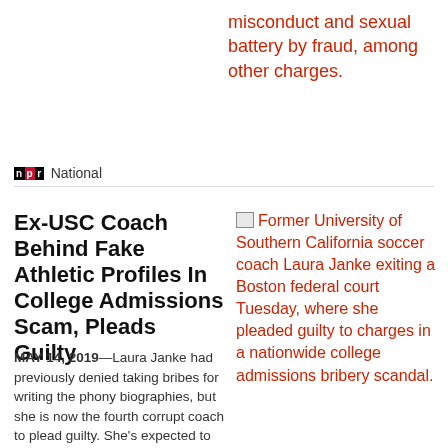misconduct and sexual battery by fraud, among other charges.
npr National
Ex-USC Coach Behind Fake Athletic Profiles In College Admissions Scam, Pleads Guilty
MAY 14, 2019—Laura Janke had previously denied taking bribes for writing the phony biographies, but she is now the fourth corrupt coach to plead guilty. She's expected to testify against others in the case.
Former University of Southern California soccer coach Laura Janke exiting a Boston federal court Tuesday, where she pleaded guilty to charges in a nationwide college admissions bribery scandal.